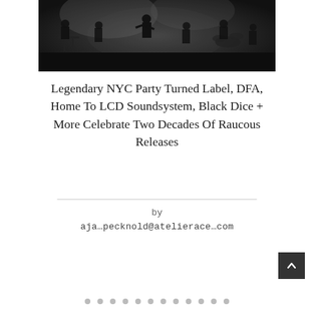[Figure (photo): Black and white photo of a band performing on stage, multiple musicians visible as silhouettes against stage lighting]
Legendary NYC Party Turned Label, DFA, Home To LCD Soundsystem, Black Dice + More Celebrate Two Decades Of Raucous Releases
by
aja…pecknold@atelierace…com